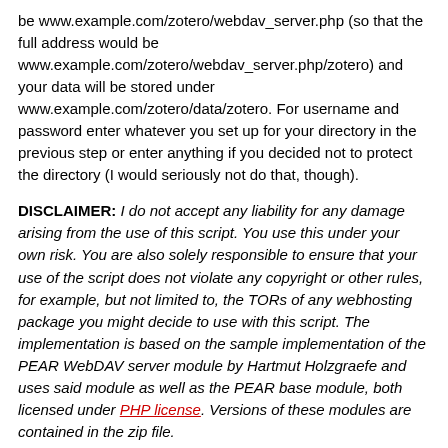be www.example.com/zotero/webdav_server.php (so that the full address would be www.example.com/zotero/webdav_server.php/zotero) and your data will be stored under www.example.com/zotero/data/zotero. For username and password enter whatever you set up for your directory in the previous step or enter anything if you decided not to protect the directory (I would seriously not do that, though).
DISCLAIMER: I do not accept any liability for any damage arising from the use of this script. You use this under your own risk. You are also solely responsible to ensure that your use of the script does not violate any copyright or other rules, for example, but not limited to, the TORs of any webhosting package you might decide to use with this script. The implementation is based on the sample implementation of the PEAR WebDAV server module by Hartmut Holzgraefe and uses said module as well as the PEAR base module, both licensed under PHP license. Versions of these modules are contained in the zip file.
DOWNLOAD: download phpZoteroWebDAV (148k).